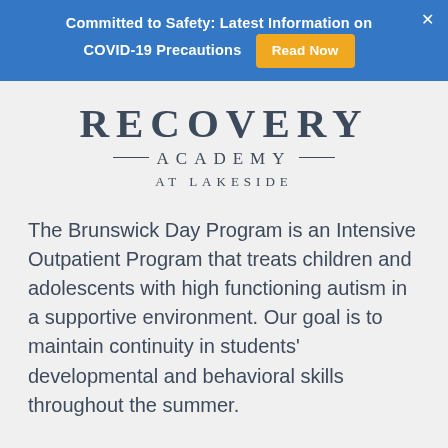Committed to Safety: Latest Information on COVID-19 Precautions  Read Now
[Figure (logo): Recovery Academy at Lakeside logo with large serif text]
The Brunswick Day Program is an Intensive Outpatient Program that treats children and adolescents with high functioning autism in a supportive environment. Our goal is to maintain continuity in students' developmental and behavioral skills throughout the summer.